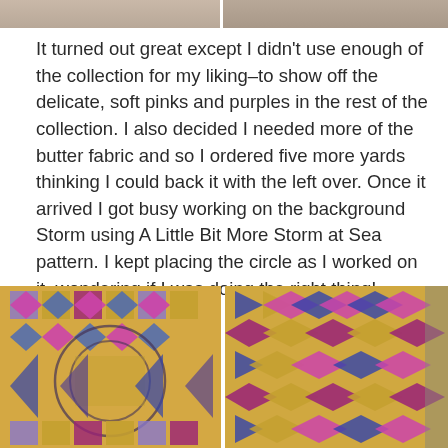[Figure (photo): Two partial photos of quilts at the top of the page, cropped to show only the bottom edge]
It turned out great except I didn't use enough of the collection for my liking–to show off the delicate, soft pinks and purples in the rest of the collection. I also decided I needed more of the butter fabric and so I ordered five more yards thinking I could back it with the left over. Once it arrived I got busy working on the background Storm using A Little Bit More Storm at Sea pattern. I kept placing the circle as I worked on it–wondering if I was doing the right thing!
[Figure (photo): Two photos of a quilt with geometric star and diamond patterns in gold, purple, pink and blue colors displayed on a wall or door]
[Figure (photo): Right photo of the same or similar quilt with completed Storm at Sea background pattern in gold, purple, pink and blue]